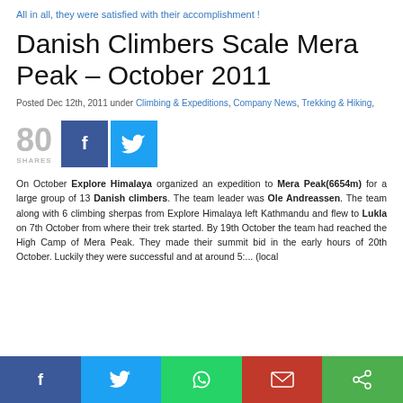All in all, they were satisfied with their accomplishment !
Danish Climbers Scale Mera Peak – October 2011
Posted Dec 12th, 2011 under Climbing & Expeditions, Company News, Trekking & Hiking,
[Figure (infographic): 80 SHARES with Facebook and Twitter share buttons]
On October Explore Himalaya organized an expedition to Mera Peak(6654m) for a large group of 13 Danish climbers. The team leader was Ole Andreassen. The team along with 6 climbing sherpas from Explore Himalaya left Kathmandu and flew to Lukla on 7th October from where their trek started. By 19th October the team had reached High Camp of Mera Peak. They made their summit bid in the early hours of 20th October. Luckily they were successful and at around 5:...
[Figure (infographic): Bottom social share bar with Facebook, Twitter, WhatsApp, Mail, and Share icons]